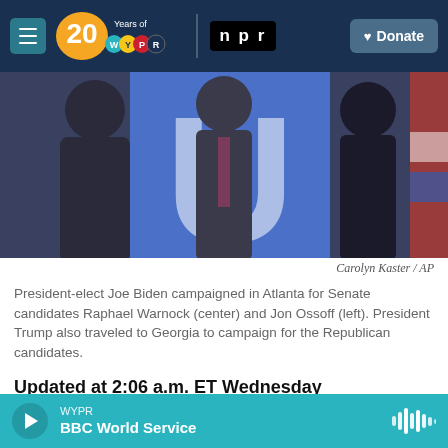WYPR 20 Years of WYPR | npr | ♥ Donate
[Figure (photo): Photo of people in suits at a campaign event, with a blue background featuring a large letter U. Carolyn Kaster / AP photo credit.]
Carolyn Kaster / AP
President-elect Joe Biden campaigned in Atlanta for Senate candidates Raphael Warnock (center) and Jon Ossoff (left). President Trump also traveled to Georgia to campaign for the Republican candidates.
Updated at 2:06 a.m. ET Wednesday
Democrats are hopeful about possibly taking total control of Washington after the Associated Press projected that the party had picked up one of two
WYPR BBC World Service